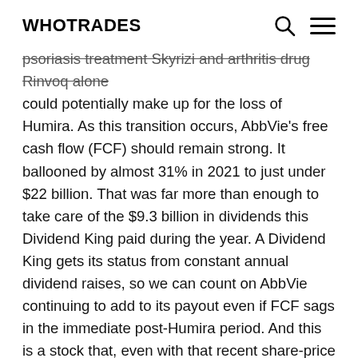WHOTRADES
psoriasis treatment Skyrizi and arthritis drug Rinvoq alone could potentially make up for the loss of Humira. As this transition occurs, AbbVie's free cash flow (FCF) should remain strong. It ballooned by almost 31% in 2021 to just under $22 billion. That was far more than enough to take care of the $9.3 billion in dividends this Dividend King paid during the year. A Dividend King gets its status from constant annual dividend raises, so we can count on AbbVie continuing to add to its payout even if FCF sags in the immediate post-Humira period. And this is a stock that, even with that recent share-price appreciation, already had a comparatively high dividend yield north of 3.5%. So in AbbVie we have not only a solid pharmaceutical company with strong fundamentals, but also an excellent dividend stock that will keep lining its shareholders' pockets for years to come. An almost perfect situation for this company's